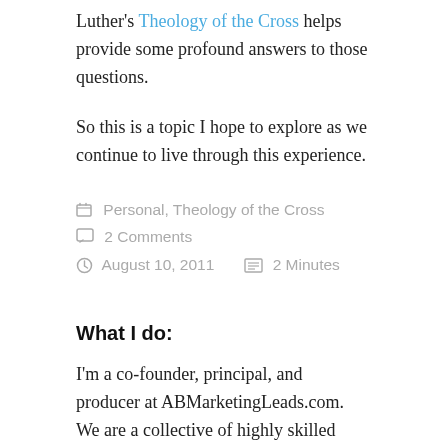Luther's Theology of the Cross helps provide some profound answers to those questions.
So this is a topic I hope to explore as we continue to live through this experience.
Personal, Theology of the Cross   2 Comments
August 10, 2011   2 Minutes
What I do:
I'm a co-founder, principal, and producer at ABMarketingLeads.com. We are a collective of highly skilled demand generation resources with a proven set of technology tools to help clients generate qualified leads, both for their ABM programs, and for their standard lead generation efforts.